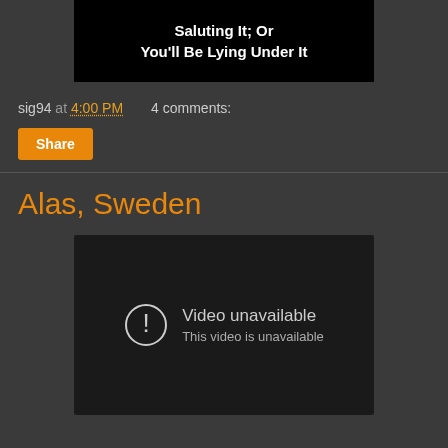[Figure (screenshot): Black image with bold white text reading: You'll Be Waving It; Saluting It; Or You'll Be Lying Under It]
sig94 at 4:00 PM   4 comments:
Share
Alas, Sweden
[Figure (screenshot): Embedded video player showing 'Video unavailable - This video is unavailable' with a circle exclamation icon]